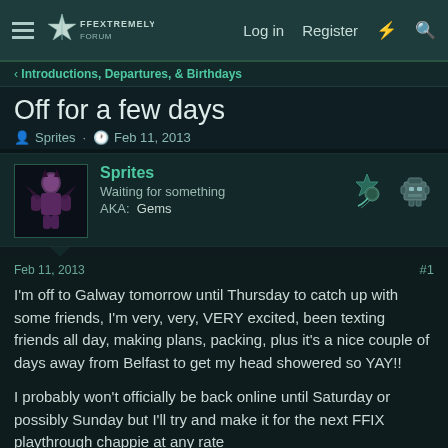Log in  Register
Introductions, Departures, & Birthdays
Off for a few days
Sprites · Feb 11, 2013
Sprites
Waiting for something
AKA: Gems
Feb 11, 2013  #1
I'm off to Galway tomorrow until Thursday to catch up with some friends, I'm very, very, VERY excited, been texting friends all day, making plans, packing, plus it's a nice couple of days away from Belfast to get my head showered so YAY!!

I probably won't officially be back online until Saturday or possibly Sunday but I'll try and make it for the next FFIX playthrough chappie at any rate